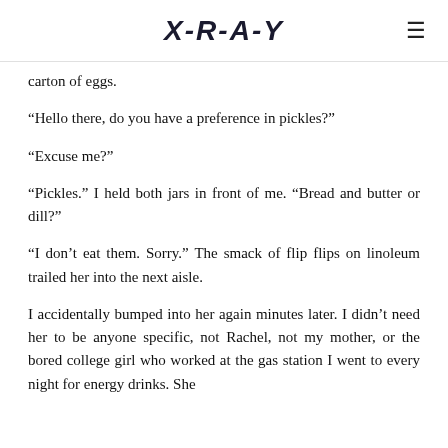X-R-A-Y
carton of eggs.
“Hello there, do you have a preference in pickles?”
“Excuse me?”
“Pickles.” I held both jars in front of me. “Bread and butter or dill?”
“I don’t eat them. Sorry.” The smack of flip flips on linoleum trailed her into the next aisle.
I accidentally bumped into her again minutes later. I didn’t need her to be anyone specific, not Rachel, not my mother, or the bored college girl who worked at the gas station I went to every night for energy drinks. She